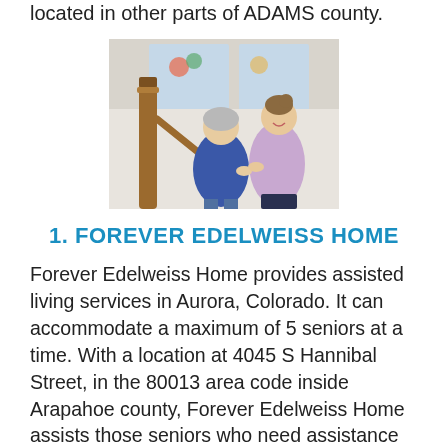located in other parts of ADAMS county.
[Figure (photo): A nurse or caregiver in a purple uniform assisting an elderly woman with gray hair and a blue patterned top, near a wooden staircase banister with stained glass windows in the background.]
1. FOREVER EDELWEISS HOME
Forever Edelweiss Home provides assisted living services in Aurora, Colorado. It can accommodate a maximum of 5 seniors at a time. With a location at 4045 S Hannibal Street, in the 80013 area code inside Arapahoe county, Forever Edelweiss Home assists those seniors who need assistance with daily living activities. Some of the services offered by Forever Edelweiss Home include fun arts & crafts, daily